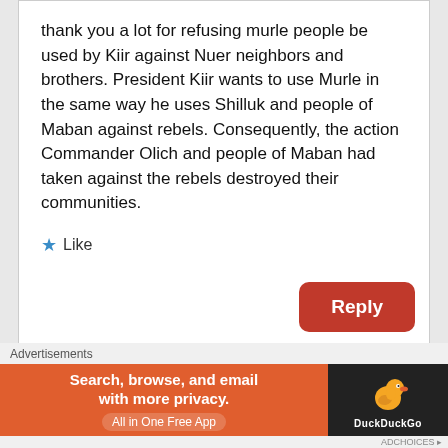thank you a lot for refusing murle people be used by Kiir against Nuer neighbors and brothers. President Kiir wants to use Murle in the same way he uses Shilluk and people of Maban against rebels. Consequently, the action Commander Olich and people of Maban had taken against the rebels destroyed their communities.
★ Like
Reply
[Figure (screenshot): DuckDuckGo advertisement banner: orange background with text 'Search, browse, and email with more privacy. All in One Free App' and DuckDuckGo duck logo on dark right panel.]